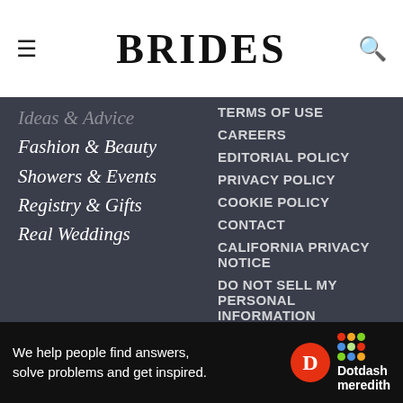BRIDES
Ideas & Advice
Fashion & Beauty
Showers & Events
Registry & Gifts
Real Weddings
TERMS OF USE
CAREERS
EDITORIAL POLICY
PRIVACY POLICY
COOKIE POLICY
CONTACT
CALIFORNIA PRIVACY NOTICE
DO NOT SELL MY PERSONAL INFORMATION
[Figure (logo): Privacy Feedback badge powered by TRUSTe]
[Figure (logo): Dotdash Meredith advertisement banner — We help people find answers, solve problems and get inspired.]